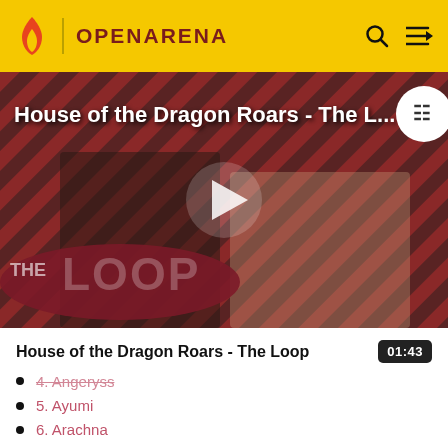OPENARENA
[Figure (screenshot): Video thumbnail for 'House of the Dragon Roars - The Loop' showing two characters with a diagonal red and dark striped background, 'THE LOOP' text overlay, and a play button in the center. Duration shown as 01:43.]
House of the Dragon Roars - The Loop
4. Angeryss
5. Ayumi
6. Arachna
7. Beret